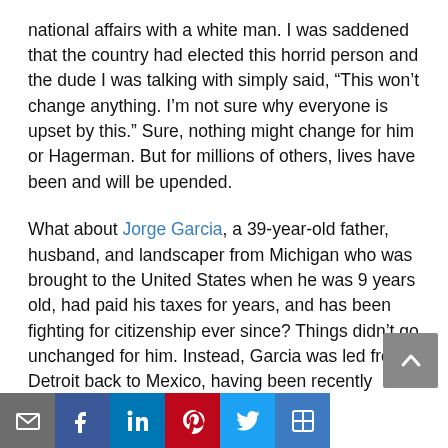national affairs with a white man. I was saddened that the country had elected this horrid person and the dude I was talking with simply said, “This won’t change anything. I’m not sure why everyone is upset by this.” Sure, nothing might change for him or Hagerman. But for millions of others, lives have been and will be upended.
What about Jorge Garcia, a 39-year-old father, husband, and landscaper from Michigan who was brought to the United States when he was 9 years old, had paid his taxes for years, and has been fighting for citizenship ever since? Things didn’t go unchanged for him. Instead, Garcia was led from Detroit back to Mexico, having been recently deported on Jan. 1–